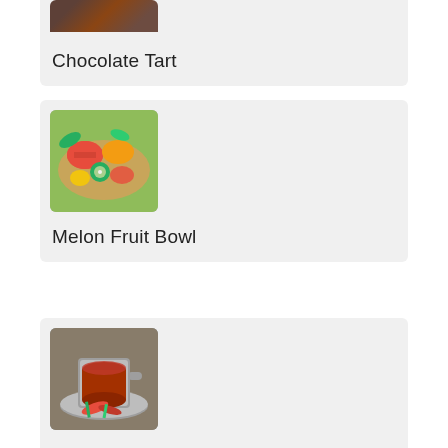[Figure (photo): Partial image of Chocolate Tart dish (cropped at top of page)]
Chocolate Tart
[Figure (photo): A bowl filled with colorful mixed melon fruit pieces including watermelon, cantaloupe, honeydew, and kiwi]
Melon Fruit Bowl
[Figure (photo): A traditional metal cup and saucer containing Tomato Rasam (Indian soup), garnished with red chilies and herbs]
Tomato Rasam